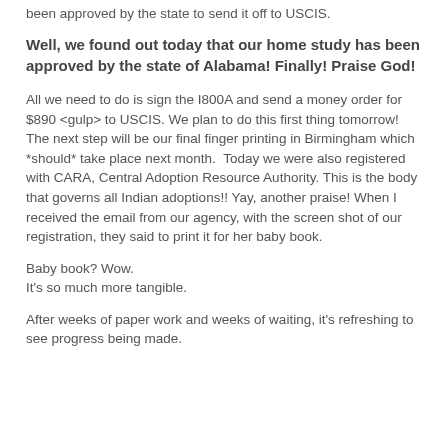been approved by the state to send it off to USCIS.
Well, we found out today that our home study has been approved by the state of Alabama! Finally! Praise God!
All we need to do is sign the I800A and send a money order for $890 <gulp> to USCIS. We plan to do this first thing tomorrow! The next step will be our final finger printing in Birmingham which *should* take place next month.  Today we were also registered with CARA, Central Adoption Resource Authority. This is the body that governs all Indian adoptions!! Yay, another praise! When I received the email from our agency, with the screen shot of our registration, they said to print it for her baby book.
Baby book? Wow.
It's so much more tangible.
After weeks of paper work and weeks of waiting, it's refreshing to see progress being made.